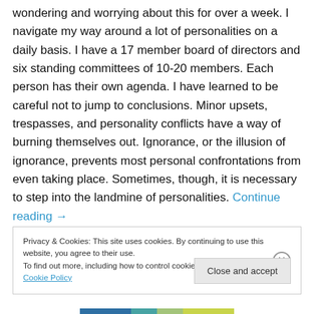wondering and worrying about this for over a week. I navigate my way around a lot of personalities on a daily basis. I have a 17 member board of directors and six standing committees of 10-20 members. Each person has their own agenda. I have learned to be careful not to jump to conclusions. Minor upsets, trespasses, and personality conflicts have a way of burning themselves out. Ignorance, or the illusion of ignorance, prevents most personal confrontations from even taking place. Sometimes, though, it is necessary to step into the landmine of personalities. Continue reading →
Privacy & Cookies: This site uses cookies. By continuing to use this website, you agree to their use.
To find out more, including how to control cookies, see here: Cookie Policy
Close and accept